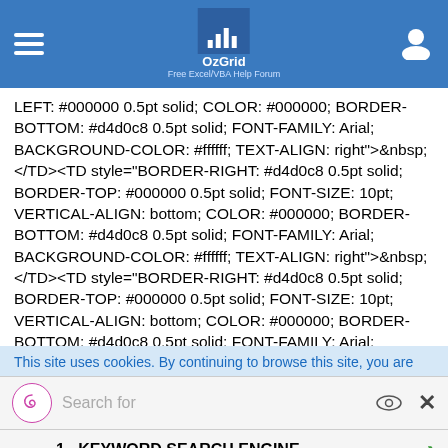OzGrid — Free Excel/VBA Help Forum
LEFT: #000000 0.5pt solid; COLOR: #000000; BORDER-BOTTOM: #d4d0c8 0.5pt solid; FONT-FAMILY: Arial; BACKGROUND-COLOR: #ffffff; TEXT-ALIGN: right">&nbsp;</TD>&lt;TD style="BORDER-RIGHT: #d4d0c8 0.5pt solid; BORDER-TOP: #000000 0.5pt solid; FONT-SIZE: 10pt; VERTICAL-ALIGN: bottom; COLOR: #000000; BORDER-BOTTOM: #d4d0c8 0.5pt solid; FONT-FAMILY: Arial; BACKGROUND-COLOR: #ffffff; TEXT-ALIGN: right">&nbsp;</TD>&lt;TD style="BORDER-RIGHT: #d4d0c8 0.5pt solid; BORDER-TOP: #000000 0.5pt solid; FONT-SIZE: 10pt; VERTICAL-ALIGN: bottom; COLOR: #000000; BORDER-BOTTOM: #d4d0c8 0.5pt solid; FONT-FAMILY: Arial; BACKGROUND-COLOR: #ffffff; TEXT-ALIGN: right">&nbsp;</TD>&lt;TD style="BORDER-RIGHT: #d4d0c8 0.5pt solid; BORDER-TOP: #000000 0.5pt solid; FONT-SIZE: 10pt;
This site uses cookies. By continuing to browse this site, you are
Search for
1.  KEYWORD SEARCH ENGINE